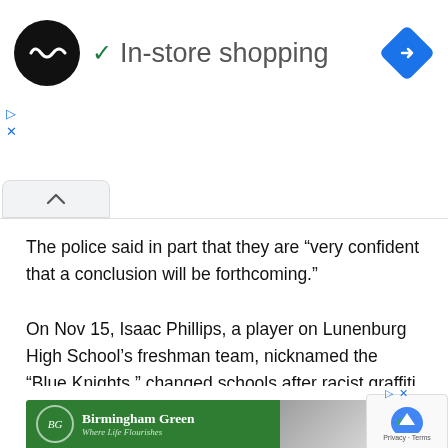[Figure (screenshot): Ad banner with circular logo, 'In-store shopping' text with checkmark, navigation diamond icon on right, and ad controls (play and close icons)]
[Figure (screenshot): Collapsed/minimized tab with upward chevron arrow]
The police said in part that they are “very confident that a conclusion will be forthcoming.”
On Nov 15, Isaac Phillips, a player on Lunenburg High School’s freshman team, nicknamed the “Blue Knights,” changed schools after racist graffiti was spray painted on his house. Isaac’s mom is white and his father is half-black.
[Figure (screenshot): Birmingham Green advertisement banner (green background with logo and tagline 'Where Life Flourishes') with photo of two people, and reCAPTCHA Privacy-Terms badge in bottom right]